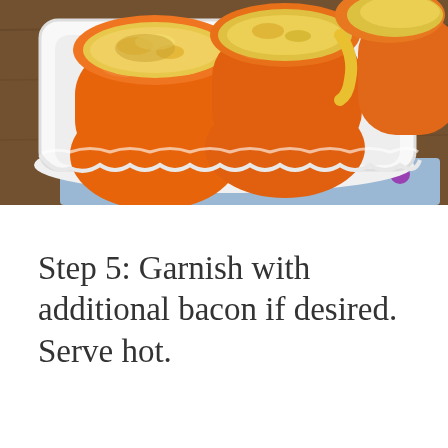[Figure (photo): Three orange bell peppers stuffed with a cheesy filling, baked until golden and bubbly, arranged in a white ceramic baking dish placed on a floral patterned cloth on a wooden surface.]
Step 5: Garnish with additional bacon if desired. Serve hot.